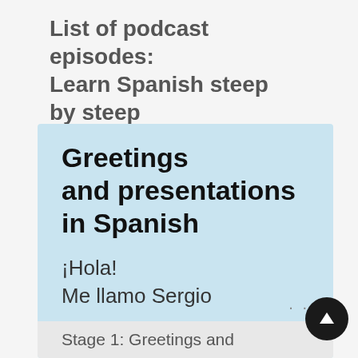List of podcast episodes: Learn Spanish steep by steep
[Figure (screenshot): A podcast episode card with light blue background showing 'Greetings and presentations in Spanish' as the episode title, with subtitle text '¡Hola! Me llamo Sergio' and a partial footer reading 'Stage 1: Greetings and']
Stage 1: Greetings and